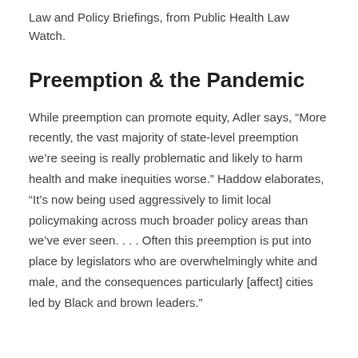Law and Policy Briefings, from Public Health Law Watch.
Preemption & the Pandemic
While preemption can promote equity, Adler says, “More recently, the vast majority of state-level preemption we’re seeing is really problematic and likely to harm health and make inequities worse.” Haddow elaborates, “It’s now being used aggressively to limit local policymaking across much broader policy areas than we’ve ever seen. . . . Often this preemption is put into place by legislators who are overwhelmingly white and male, and the consequences particularly [affect] cities led by Black and brown leaders.”